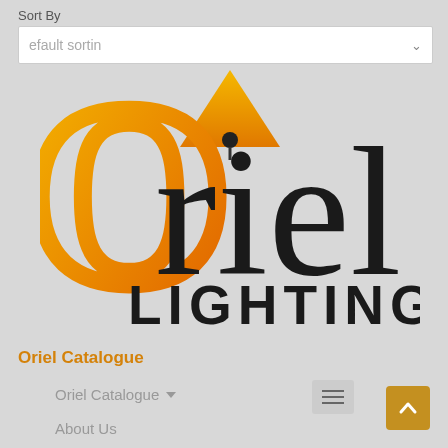Sort By
Default sorting
[Figure (logo): Oriel Lighting logo with orange O letter and orange triangle lampshade above the word Oriel, with LIGHTING beneath in dark serif text]
Oriel Catalogue
Oriel Catalogue ▾
About Us
Search our Catalogue
Support ▾
[Figure (other): Back to top arrow button, orange/gold background with upward chevron]